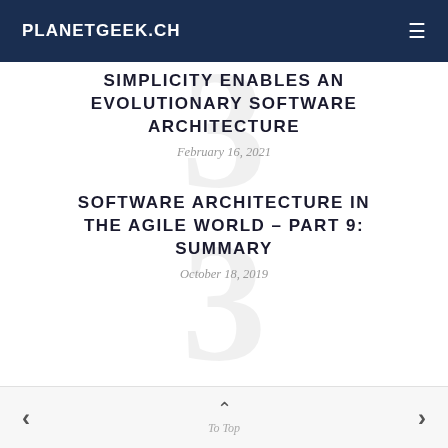PLANETGEEK.CH
SIMPLICITY ENABLES AN EVOLUTIONARY SOFTWARE ARCHITECTURE
February 16, 2021
SOFTWARE ARCHITECTURE IN THE AGILE WORLD – PART 9: SUMMARY
October 18, 2019
< To Top >